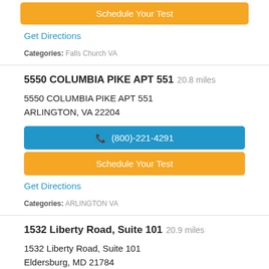Schedule Your Test
Get Directions
Categories: Falls Church VA
5550 COLUMBIA PIKE APT 551  20.8 miles
5550 COLUMBIA PIKE APT 551
ARLINGTON, VA 22204
(800)-221-4291
Schedule Your Test
Get Directions
Categories: ARLINGTON VA
1532 Liberty Road, Suite 101  20.9 miles
1532 Liberty Road, Suite 101
Eldersburg, MD 21784